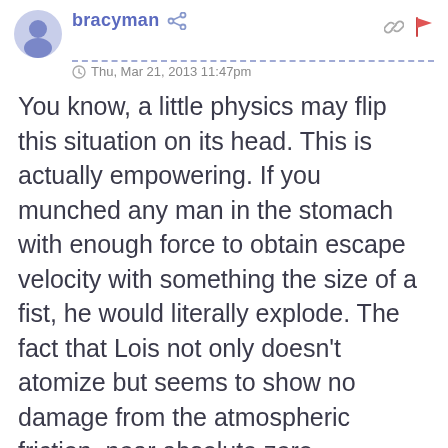bracyman — Thu, Mar 21, 2013 11:47pm
You know, a little physics may flip this situation on its head. This is actually empowering. If you munched any man in the stomach with enough force to obtain escape velocity with something the size of a fist, he would literally explode. The fact that Lois not only doesn't atomize but seems to show no damage from the atmospheric friction, near absolute zero temperatures or cosmic radiation suggests that the artists have a great deal of respect for how tough woman can be. Science to the rescue!